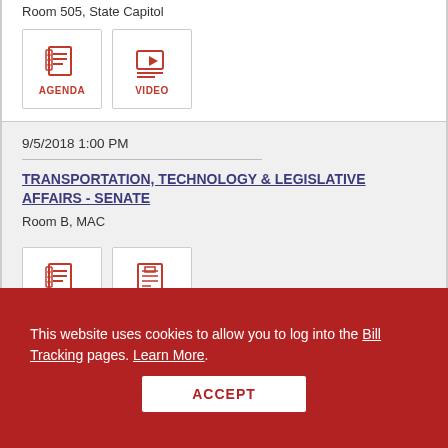Room 505, State Capitol
[Figure (other): AGENDA icon button - agenda/document icon in red]
[Figure (other): VIDEO icon button - play button icon in red]
9/5/2018 1:00 PM
TRANSPORTATION, TECHNOLOGY & LEGISLATIVE AFFAIRS - SENATE
Room B, MAC
[Figure (other): AGENDA icon button - agenda/document icon in red]
[Figure (other): DOCS icon button - documents icon in red]
This website uses cookies to allow you to log into the Bill Tracking pages. Learn More.
ACCEPT